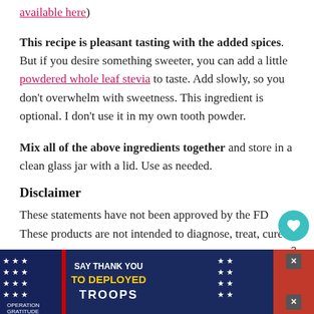available here)
This recipe is pleasant tasting with the added spices. But if you desire something sweeter, you can add a little powdered whole leaf stevia to taste. Add slowly, so you don't overwhelm with sweetness. This ingredient is optional. I don't use it in my own tooth powder.
Mix all of the above ingredients together and store in a clean glass jar with a lid. Use as needed.
Disclaimer
These statements have not been approved by the FDA. These products are not intended to diagnose, treat, cure or
[Figure (screenshot): Operation Gratitude advertisement banner: SAY THANK YOU TO DEPLOYED TROOPS, with patriotic imagery and close buttons]